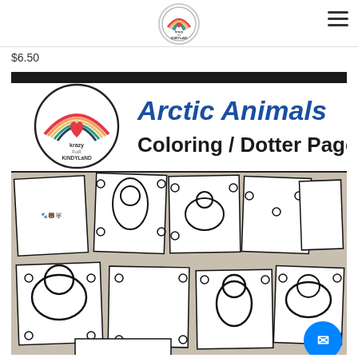Krazy for Kindyland logo and navigation
$6.50
[Figure (illustration): Product cover image for Arctic Animals Coloring / Dotter Pages by Krazy for Kindyland. Shows a circular logo with a rainbow and heart on the left, bold blue text 'Arctic Animals' and black bold text 'Coloring / Dotter Pages' on the right. Below are sample coloring/dotter pages featuring arctic animals including penguins, polar bears, moose, rabbits, and other arctic creatures with circle dot patterns.]